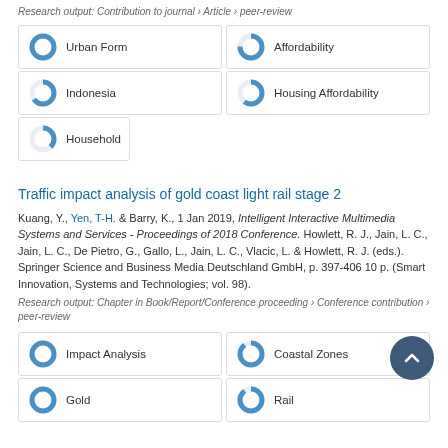Research output: Contribution to journal › Article › peer-review
[Figure (other): Keyword badge: Urban Form with ~100% donut chart (blue)]
[Figure (other): Keyword badge: Affordability with ~75% donut chart (blue)]
[Figure (other): Keyword badge: Indonesia with ~65% donut chart (blue)]
[Figure (other): Keyword badge: Housing Affordability with ~60% donut chart (blue)]
[Figure (other): Keyword badge: Household with ~38% donut chart (blue)]
Traffic impact analysis of gold coast light rail stage 2
Kuang, Y., Yen, T-H. & Barry, K., 1 Jan 2019, Intelligent Interactive Multimedia Systems and Services - Proceedings of 2018 Conference. Howlett, R. J., Jain, L. C., Jain, L. C., De Pietro, G., Gallo, L., Jain, L. C., Vlacic, L. & Howlett, R. J. (eds.). Springer Science and Business Media Deutschland GmbH, p. 397-406 10 p. (Smart Innovation, Systems and Technologies; vol. 98).
Research output: Chapter in Book/Report/Conference proceeding › Conference contribution › peer-review
[Figure (other): Keyword badge: Impact Analysis with ~100% donut chart (blue)]
[Figure (other): Keyword badge: Coastal Zones with ~90% donut chart (blue)]
[Figure (other): Keyword badge: Gold with ~100% donut chart (blue)]
[Figure (other): Keyword badge: Rail with ~90% donut chart (blue)]